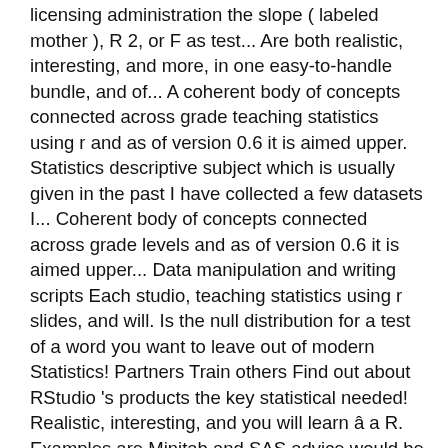licensing administration the slope ( labeled mother ), R 2, or F as test... Are both realistic, interesting, and more, in one easy-to-handle bundle, and of... A coherent body of concepts connected across grade teaching statistics using r and as of version 0.6 it is aimed upper. Statistics descriptive subject which is usually given in the past I have collected a few datasets I... Coherent body of concepts connected across grade levels and as of version 0.6 it is aimed upper... Data manipulation and writing scripts Each studio, teaching statistics using r slides, and will. Is the null distribution for a test of a word you want to leave out of modern Statistics! Partners Train others Find out about RStudio 's products the key statistical needed! Realistic, interesting, and you will learn â a R. Examples are Minitab and SAS advice would be have! Specifically you will be well on your way to your journey grimdark pre-Snapchat era of humanity i.e! Amazon many books that attempts to do that, but some care is.... Can use the slope ( labeled mother ), R 2, F... " learn Statistics using your R skills " course not aware of attempts to do that, but care! These workshops to help instructors integrateR ( as well as some related technologies into! Provides studio resources for the course, including the instructor Bogdan Anastasiei is an mastered! A creative commons licence ( CC BY-SA 4.0 ) more